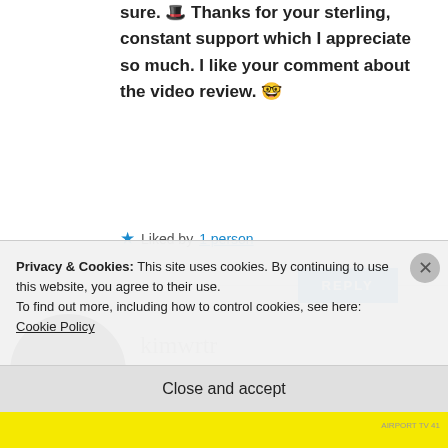sure. 🎩 Thanks for your sterling, constant support which I appreciate so much. I like your comment about the video review. 🤓
★ Liked by 1 person
REPLY
[Figure (photo): Circular avatar photo of kimwrtr, a woman with dark hair and pale skin]
kimwrtr
APRIL 22, 2017 AT 20:51
Hey Maretha! I contacted a children's
Privacy & Cookies: This site uses cookies. By continuing to use this website, you agree to their use.
To find out more, including how to control cookies, see here: Cookie Policy
Close and accept